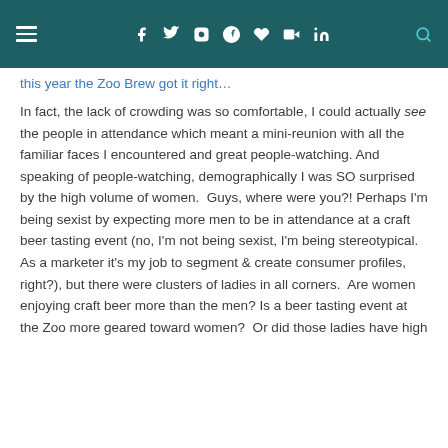≡  f  t  ☷  ⊕  ♥  ▶  in  🔍
this year the Zoo Brew got it right…
In fact, the lack of crowding was so comfortable, I could actually see the people in attendance which meant a mini-reunion with all the familiar faces I encountered and great people-watching.  And speaking of people-watching, demographically I was SO surprised by the high volume of women.  Guys, where were you?!  Perhaps I'm being sexist by expecting more men to be in attendance at a craft beer tasting event (no, I'm not being sexist, I'm being stereotypical.  As a marketer it's my job to segment & create consumer profiles, right?), but there were clusters of ladies in all corners.  Are women enjoying craft beer more than the men?  Is a beer tasting event at the Zoo more geared toward women?  Or did those ladies have high